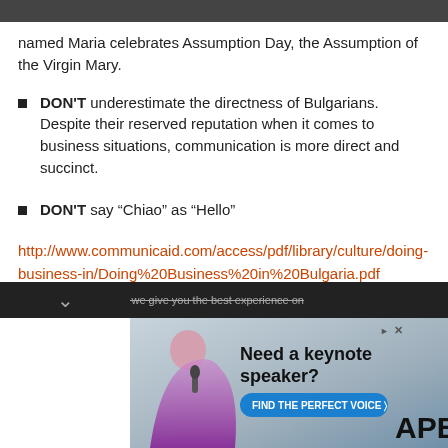named Maria celebrates Assumption Day, the Assumption of the Virgin Mary.
DON'T underestimate the directness of Bulgarians. Despite their reserved reputation when it comes to business situations, communication is more direct and succinct.
DON'T say “Chiao” as “Hello”
http://www.communicaid.com/access/pdf/library/culture/doing-business-in/Doing%20Business%20in%20Bulgaria.pdf
[Figure (photo): Advertisement banner: 'Need a keynote speaker? FIND THE PERFECT VOICE > APB' with a woman in a purple dress holding a microphone]